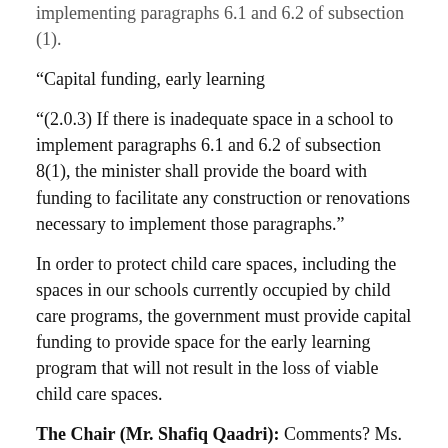implementing paragraphs 6.1 and 6.2 of subsection (1).
“Capital funding, early learning
“(2.0.3) If there is inadequate space in a school to implement paragraphs 6.1 and 6.2 of subsection 8(1), the minister shall provide the board with funding to facilitate any construction or renovations necessary to implement those paragraphs.”
In order to protect child care spaces, including the spaces in our schools currently occupied by child care programs, the government must provide capital funding to provide space for the early learning program that will not result in the loss of viable child care spaces.
The Chair (Mr. Shafiq Qaadri): Comments? Ms. Pendergast.
Ms. Leeanna Pendergast: I wanted to add for the record that the government has indicated it will be working with the municipal sector and other partners on measures to